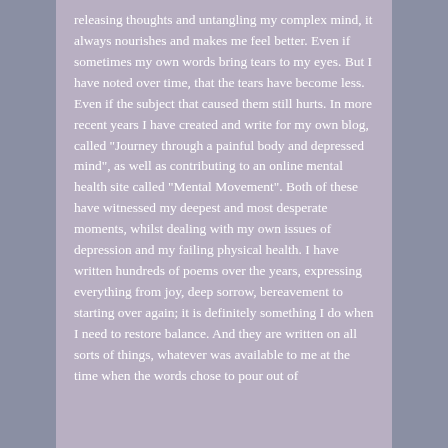releasing thoughts and untangling my complex mind, it always nourishes and makes me feel better. Even if sometimes my own words bring tears to my eyes. But I have noted over time, that the tears have become less. Even if the subject that caused them still hurts. In more recent years I have created and write for my own blog, called "Journey through a painful body and depressed mind", as well as contributing to an online mental health site called "Mental Movement". Both of these have witnessed my deepest and most desperate moments, whilst dealing with my own issues of depression and my failing physical health. I have written hundreds of poems over the years, expressing everything from joy, deep sorrow, bereavement to starting over again; it is definitely something I do when I need to restore balance. And they are written on all sorts of things, whatever was available to me at the time when the words chose to pour out of